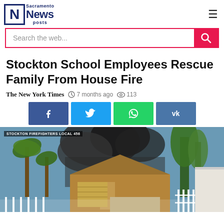Sacramento News Posts
Stockton School Employees Rescue Family From House Fire
The New York Times  7 months ago  113
[Figure (photo): Video still of a house fire in Stockton with smoke rising, labeled STOCKTON FIREFIGHTERS LOCAL 456 in the upper left corner. Shows suburban homes with palm trees and a white fence.]